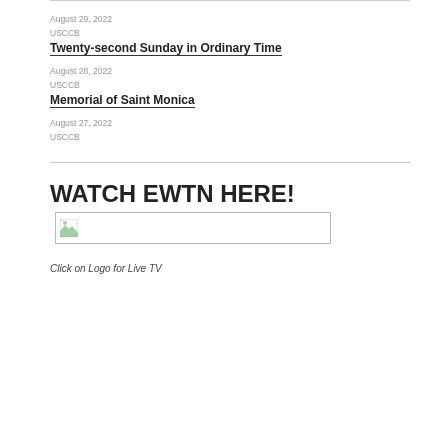August 29, 2022
USCCB
Twenty-second Sunday in Ordinary Time
August 28, 2022
USCCB
Memorial of Saint Monica
August 27, 2022
USCCB
WATCH EWTN HERE!
[Figure (photo): Broken image placeholder for EWTN logo]
Click on Logo for Live TV